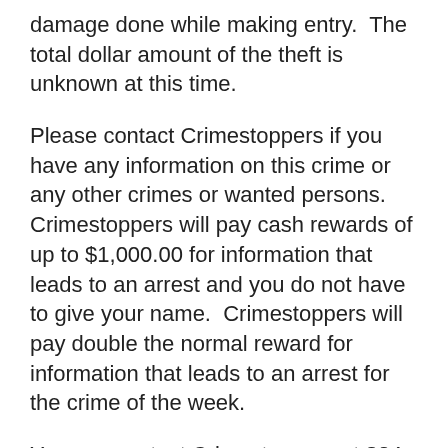damage done while making entry.  The total dollar amount of the theft is unknown at this time.
Please contact Crimestoppers if you have any information on this crime or any other crimes or wanted persons.  Crimestoppers will pay cash rewards of up to $1,000.00 for information that leads to an arrest and you do not have to give your name.  Crimestoppers will pay double the normal reward for information that leads to an arrest for the crime of the week.
You can contact Crimestoppers at 824-9100, at our website Christiancountycrimestoppers.org, or by texting CRIMES (274632) and then your tip.  As always, you will remain anonymous.